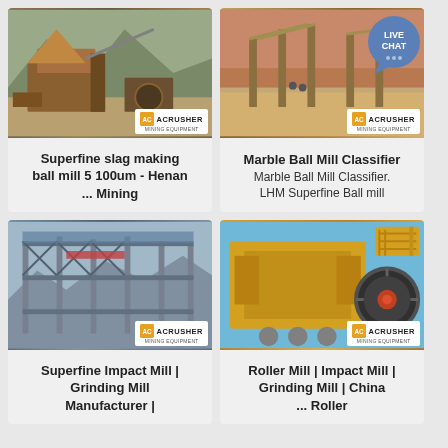[Figure (photo): Mining equipment - superfine slag making ball mill at outdoor site with mountains in background, ACRUSHER Mining Equipment logo visible]
Superfine slag making ball mill 5 100um - Henan ... Mining
[Figure (photo): Mining equipment - marble ball mill classifier at outdoor site, LIVE CHAT bubble overlay, ACRUSHER Mining Equipment logo visible]
Marble Ball Mill Classifier
Marble Ball Mill Classifier. LHM Superfine Ball mill
[Figure (photo): Industrial steel frame structure building - superfine impact mill manufacturing facility, ACRUSHER Mining Equipment logo visible]
Superfine Impact Mill | Grinding Mill Manufacturer |
[Figure (photo): Yellow roller mill / impact mill heavy machinery, ACRUSHER Mining Equipment logo visible]
Roller Mill | Impact Mill | Grinding Mill | China ... Roller